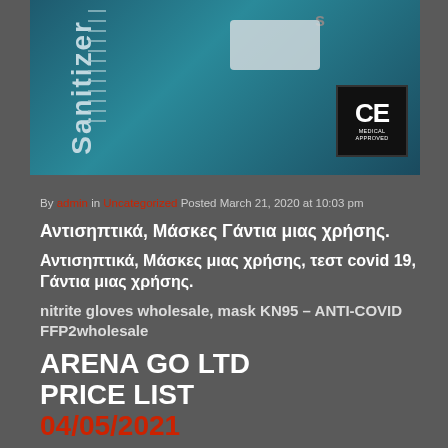[Figure (photo): Photo of hand sanitizer bottle and COVID-19 rapid test strip on a teal/blue background with CE Medical Approved badge in bottom right corner]
By admin in Uncategorized Posted March 21, 2020 at 10:03 pm
Αντισηπτικά, Μάσκες Γάντια μιας χρήσης.
Αντισηπτικά, Μάσκες μιας χρήσης, τεστ covid 19, Γάντια μιας χρήσης.
nitrite gloves wholesale, mask KN95 – ANTI-COVID FFP2wholesale
ARENA GO LTD PRICE LIST 04/05/2021